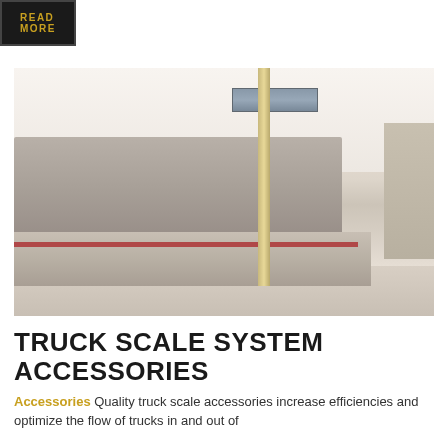READ MORE
[Figure (photo): Outdoor truck scale installation with a long scale platform, wooden pole with electronic sign board, industrial buildings in background, concrete ground surface.]
TRUCK SCALE SYSTEM ACCESSORIES
Accessories Quality truck scale accessories increase efficiencies and optimize the flow of trucks in and out of